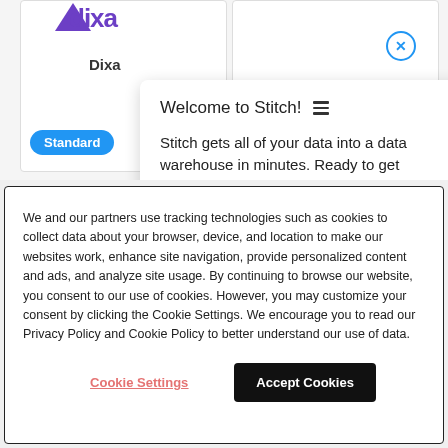[Figure (screenshot): Website UI showing two product cards (Dixa and Drip) with a Stitch onboarding popup overlay saying 'Welcome to Stitch!' with a hamburger icon and text 'Stitch gets all of your data into a data warehouse in minutes. Ready to get started?'. A Standard blue pill button and S gray circle button are visible. A blue X close button is shown top right.]
We and our partners use tracking technologies such as cookies to collect data about your browser, device, and location to make our websites work, enhance site navigation, provide personalized content and ads, and analyze site usage. By continuing to browse our website, you consent to our use of cookies. However, you may customize your consent by clicking the Cookie Settings. We encourage you to read our Privacy Policy and Cookie Policy to better understand our use of data.
Cookie Settings
Accept Cookies